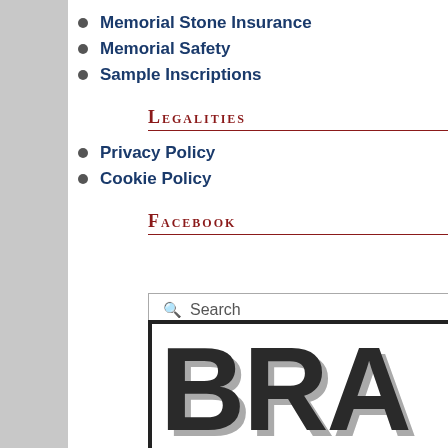Memorial Stone Insurance
Memorial Safety
Sample Inscriptions
Legalities
Privacy Policy
Cookie Policy
Facebook
Search
[Figure (logo): Partial brand logo showing large bold letters 'BRA' (likely 'BRAND' or similar) in dark gray with drop shadow, inside a thick black border rectangle]